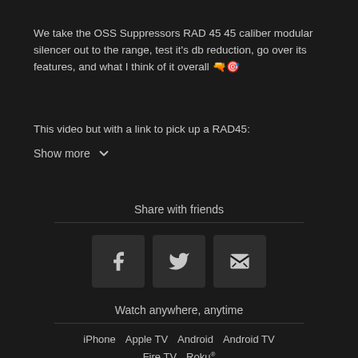We take the OSS Suppressors RAD 45 45 caliber modular silencer out to the range, test it's db reduction, go over its features, and what I think of it overall 🔫🎯
This video but with a link to pick up a RAD45:
Show more
Share with friends
[Figure (other): Three social share buttons: Facebook (f icon), Twitter (bird icon), Email (envelope icon)]
Watch anywhere, anytime
iPhone  Apple TV  Android  Android TV  Fire TV  Roku